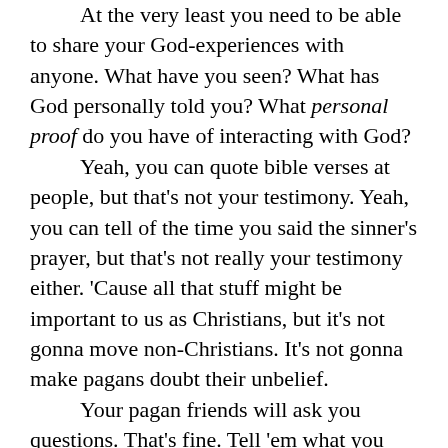At the very least you need to be able to share your God-experiences with anyone. What have you seen? What has God personally told you? What personal proof do you have of interacting with God?

Yeah, you can quote bible verses at people, but that's not your testimony. Yeah, you can tell of the time you said the sinner's prayer, but that's not really your testimony either. 'Cause all that stuff might be important to us as Christians, but it's not gonna move non-Christians. It's not gonna make pagans doubt their unbelief.

Your pagan friends will ask you questions. That's fine. Tell 'em what you know. Don't claim to know anything you don't; never lie. If you don't know, tell 'em "I